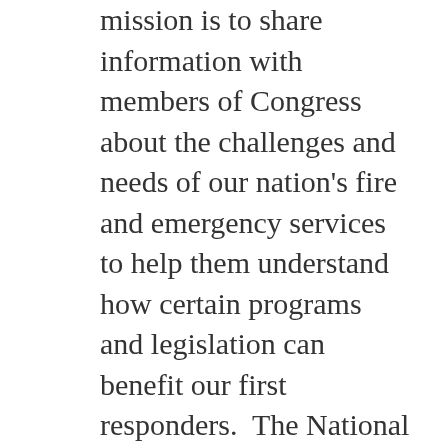mission is to share information with members of Congress about the challenges and needs of our nation's fire and emergency services to help them understand how certain programs and legislation can benefit our first responders.  The National Advisory Committee is comprised of a broad range of national fire and emergency services organizations.  Convening semi-annually, committee members discuss and develop consensus positions on federal issues that CFSI shares with members of Congress.
A privately-funded organization, CFSI is the host of the annual National Fire and Emergency Services Symposium and Dinner Program that takes place each year in Washington, DC.  Next year marks the 30th anniversary of the event.  Approximately